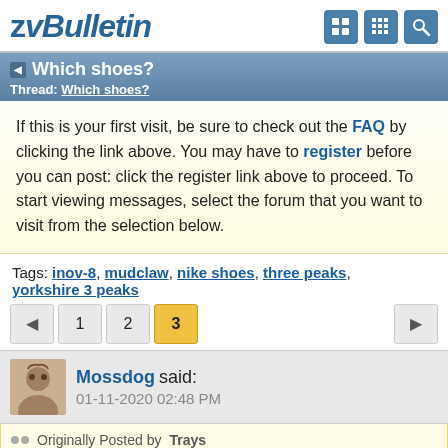vBulletin
Which shoes? Thread: Which shoes?
If this is your first visit, be sure to check out the FAQ by clicking the link above. You may have to register before you can post: click the register link above to proceed. To start viewing messages, select the forum that you want to visit from the selection below.
Tags: inov-8, mudclaw, nike shoes, three peaks, yorkshire 3 peaks
1 2 3
Mossdog said: 01-11-2020 02:48 PM
Originally Posted by Trays